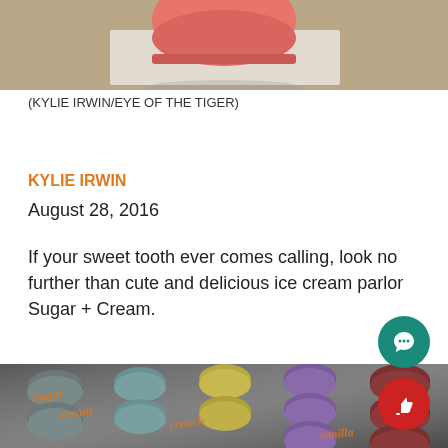[Figure (photo): Top portion of a photo showing a pink/coral macaron on a light surface]
(KYLIE IRWIN/EYE OF THE TIGER)
KYLIE IRWIN
August 28, 2016
If your sweet tooth ever comes calling, look no further than cute and delicious ice cream parlor Sugar + Cream.
[Figure (photo): Photo of colorful macarons arranged in rows in a display case — gray, teal, gold/yellow, purple, and dark red/brown colors, with orange cursive text overlay reading Sugar + Cream]